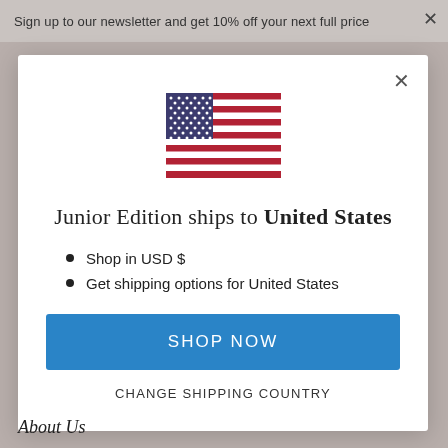Sign up to our newsletter and get 10% off your next full price
[Figure (illustration): US flag SVG illustration]
Junior Edition ships to United States
Shop in USD $
Get shipping options for United States
SHOP NOW
CHANGE SHIPPING COUNTRY
About Us